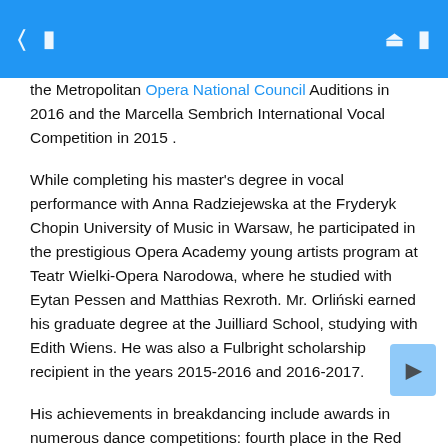[navigation icons] [search icon] [menu icon]
the Metropolitan Opera National Council Auditions in 2016 and the Marcella Sembrich International Vocal Competition in 2015 .
While completing his master's degree in vocal performance with Anna Radziejewska at the Fryderyk Chopin University of Music in Warsaw, he participated in the prestigious Opera Academy young artists program at Teatr Wielki-Opera Narodowa, where he studied with Eytan Pessen and Matthias Rexroth. Mr. Orliński earned his graduate degree at the Juilliard School, studying with Edith Wiens. He was also a Fulbright scholarship recipient in the years 2015-2016 and 2016-2017.
His achievements in breakdancing include awards in numerous dance competitions: fourth place in the Red Bull BC One Poland Cypher contest, second place in the Stylish Strike – Top Rock Contest and second place in The Style Control contest, among others. He has also been featured in an advertisement for